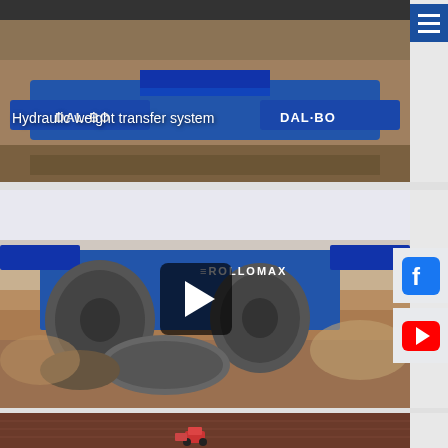[Figure (photo): Aerial/overhead view of DAL-BO agricultural roller equipment in a field showing hydraulic weight transfer system. Blue machinery with DAL-BO branding visible. Text overlay reads 'Hydraulic weight transfer system'. Menu hamburger button in top-right corner.]
[Figure (screenshot): Video thumbnail showing DAL-BO ROLLOMAX large agricultural field roller/cultivator machine working in a dirt field. Blue machinery with large spiked rollers churning soil. Play button icon overlaid in center. Facebook and YouTube social media icons visible on right edge.]
[Figure (photo): Aerial view of a cultivated field (dark reddish-brown soil) with a pink/red tractor visible in the lower center of the frame.]